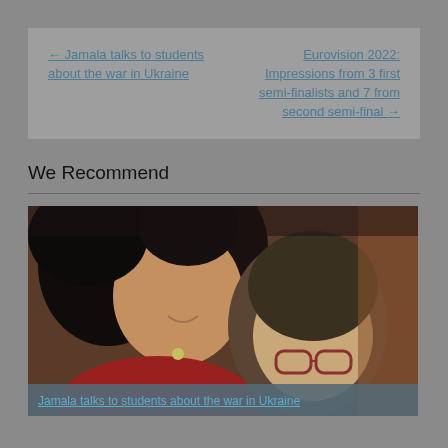← Jamala talks to students about the war in Ukraine
Eurovision 2022: Impressions from 3 first semi-finalists and 7 from second semi-final →
We Recommend
[Figure (photo): Two people posing together for a selfie photo, one with dark curly hair and one with glasses]
Jamala talks to students about the war in Ukraine